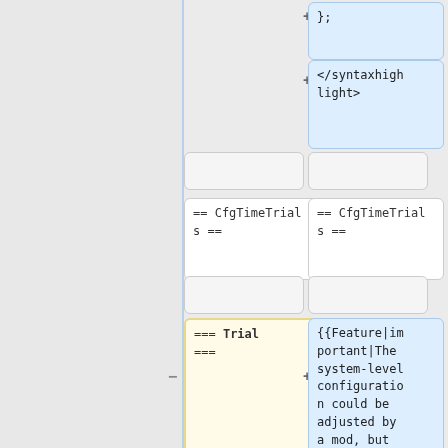[Figure (screenshot): Wiki diff/comparison view showing two columns of code blocks. Left column shows deleted content (yellow highlighted), right column shows added content (blue highlighted). Boxes contain wiki markup code including }; closing brace, </syntaxhighlight> tag, == CfgTimeTrials == section headers, and === Trial === subsection header on left and {{Feature|important|The system-level configuration could be adjusted by a mod, but consider if that is not going to on right.]
};
</syntaxhighlight>
== CfgTimeTrials ==
== CfgTimeTrials ==
=== Trial ===
{{Feature|important|The system-level configuration could be adjusted by a mod, but consider if that is not going to